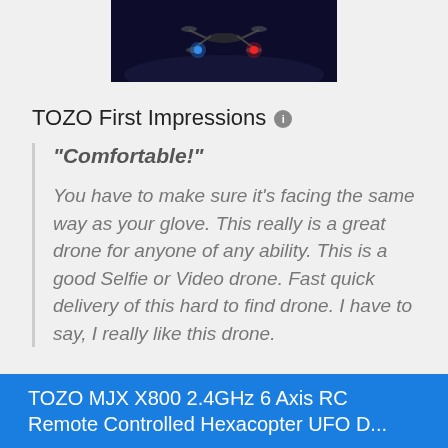[Figure (photo): A drone flying at night with blue and red lights visible, dark sky background]
TOZO First Impressions ℹ
"Comfortable!" You have to make sure it's facing the same way as your glove. This really is a great drone for anyone of any ability. This is a good Selfie or Video drone. Fast quick delivery of this hard to find drone. I have to say, I really like this drone.
TOZO MJX X800 2.4GHz 6 Axis RC Remote Controlled Hexacopter UFO D...